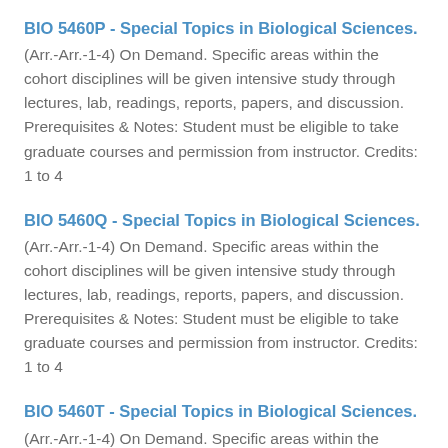BIO 5460P - Special Topics in Biological Sciences.
(Arr.-Arr.-1-4) On Demand. Specific areas within the cohort disciplines will be given intensive study through lectures, lab, readings, reports, papers, and discussion. Prerequisites & Notes: Student must be eligible to take graduate courses and permission from instructor. Credits: 1 to 4
BIO 5460Q - Special Topics in Biological Sciences.
(Arr.-Arr.-1-4) On Demand. Specific areas within the cohort disciplines will be given intensive study through lectures, lab, readings, reports, papers, and discussion. Prerequisites & Notes: Student must be eligible to take graduate courses and permission from instructor. Credits: 1 to 4
BIO 5460T - Special Topics in Biological Sciences.
(Arr.-Arr.-1-4) On Demand. Specific areas within the cohort disciplines will be given intensive study